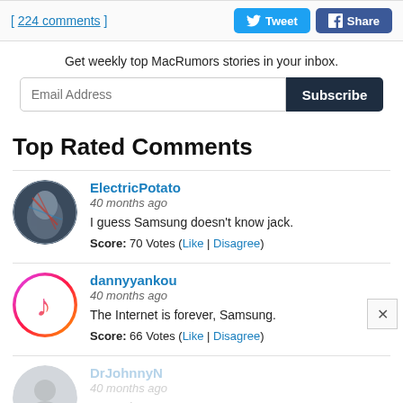[ 224 comments ]
Tweet | Share
Get weekly top MacRumors stories in your inbox.
Email Address | Subscribe
Top Rated Comments
ElectricPotato
40 months ago
I guess Samsung doesn't know jack.
Score: 70 Votes (Like | Disagree)
dannyyankou
40 months ago
The Internet is forever, Samsung.
Score: 66 Votes (Like | Disagree)
DrJohnnyN
40 months ago
Hypocrites